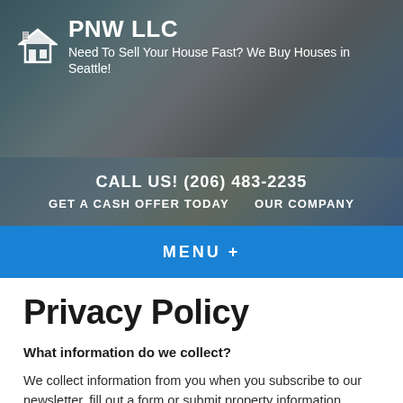PNW LLC – Need To Sell Your House Fast? We Buy Houses in Seattle!
CALL US! (206) 483-2235
GET A CASH OFFER TODAY   OUR COMPANY
MENU +
Privacy Policy
What information do we collect?
We collect information from you when you subscribe to our newsletter, fill out a form or submit property information.
We may collect information about your computer.